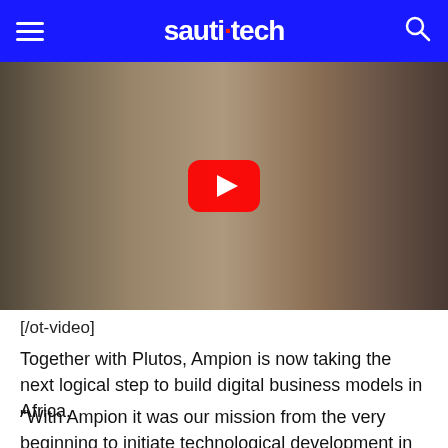sauti tech
[Figure (screenshot): Video thumbnail showing people inside a bus. A person in a white Ampion t-shirt stands, interacting with seated passengers. A YouTube play button overlay is visible in the center.]
[/ot-video]
Together with Plutos, Ampion is now taking the next logical step to build digital business models in Africa.
“With Ampion it was our mission from the very beginning to initiate technological development in the African